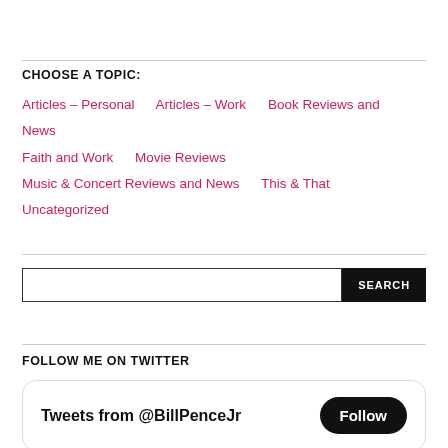CHOOSE A TOPIC:
Articles – Personal
Articles – Work
Book Reviews and News
Faith and Work
Movie Reviews
Music & Concert Reviews and News
This & That
Uncategorized
FOLLOW ME ON TWITTER
Tweets from @BillPenceJr  Follow